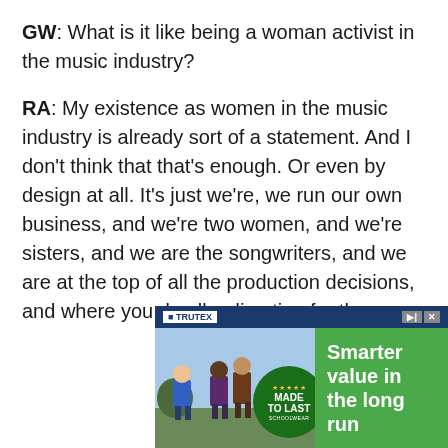GW: What is it like being a woman activist in the music industry?
RA: My existence as women in the music industry is already sort of a statement. And I don't think that that's enough. Or even by design at all. It's just we're, we run our own business, and we're two women, and we're sisters, and we are the songwriters, and we are at the top of all the production decisions, and where you do all a direction for the [continues...]
[Figure (photo): Trutex advertisement banner showing school children in uniforms, with a green badge reading MADE TO LAST SCHOOLWEAR and text Smarter value in the long run]